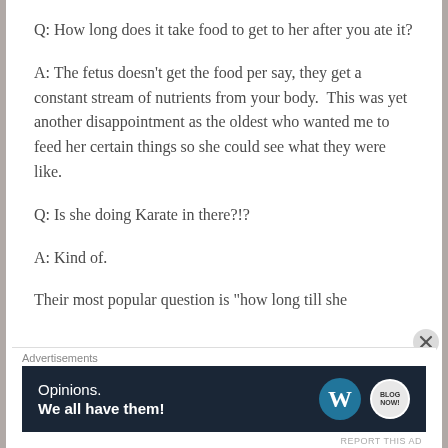Q: How long does it take food to get to her after you ate it?
A: The fetus doesn’t get the food per say, they get a constant stream of nutrients from your body.  This was yet another disappointment as the oldest who wanted me to feed her certain things so she could see what they were like.
Q: Is she doing Karate in there?!?
A: Kind of.
Their most popular question is “how long till she
[Figure (infographic): Advertisement banner for WordPress. Text reads: Opinions. We all have them! with WordPress logo and brand badge.]
Advertisements
REPORT THIS AD